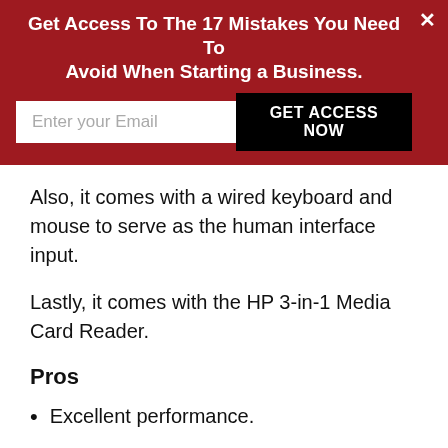[Figure (infographic): Red banner with call-to-action: 'Get Access To The 17 Mistakes You Need To Avoid When Starting a Business.' with email input and GET ACCESS NOW button, and a close X button.]
Also, it comes with a wired keyboard and mouse to serve as the human interface input.
Lastly, it comes with the HP 3-in-1 Media Card Reader.
Pros
Excellent performance.
Excellent for other high demanding tasks like photo editing and low-end gaming.